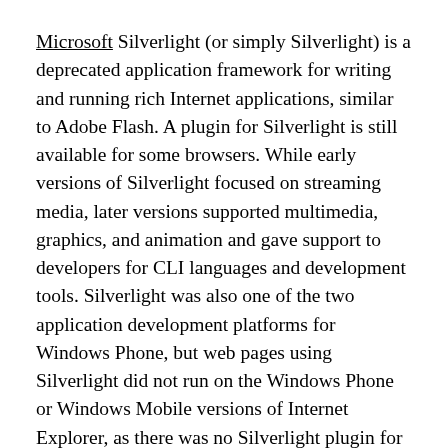Microsoft Silverlight (or simply Silverlight) is a deprecated application framework for writing and running rich Internet applications, similar to Adobe Flash. A plugin for Silverlight is still available for some browsers. While early versions of Silverlight focused on streaming media, later versions supported multimedia, graphics, and animation and gave support to developers for CLI languages and development tools. Silverlight was also one of the two application development platforms for Windows Phone, but web pages using Silverlight did not run on the Windows Phone or Windows Mobile versions of Internet Explorer, as there was no Silverlight plugin for Internet Explorer on those platforms.
Silverlight provides a retained mode graphics system similar to Windows Presentation Foundation (WPF), and integrates multimedia, graphics, animations, and interactivity into a single run-time environment. In Silverlight applications, user interfaces are declared in